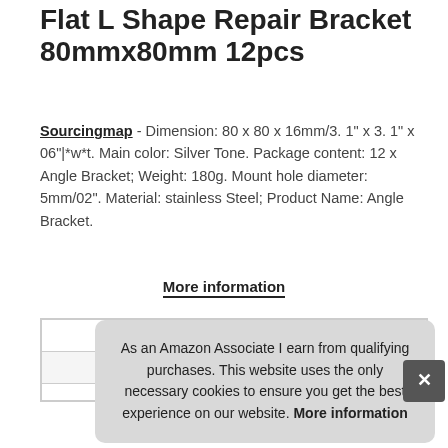Flat L Shape Repair Bracket 80mmx80mm 12pcs
Sourcingmap - Dimension: 80 x 80 x 16mm/3. 1" x 3. 1" x 06"|*w*t. Main color: Silver Tone. Package content: 12 x Angle Bracket; Weight: 180g. Mount hole diameter: 5mm/02". Material: stainless Steel; Product Name: Angle Bracket.
More information
| Brand | Sourcingmap |
| --- | --- |
| Ma |  |
|  |  |
As an Amazon Associate I earn from qualifying purchases. This website uses the only necessary cookies to ensure you get the best experience on our website. More information